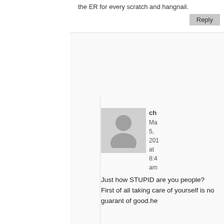the ER for every scratch and hangnail.
Reply
ch
Ma 5, 201 at 8:4 am
Just how STUPID are you people? First of all taking care of yourself is no guarant of good.he